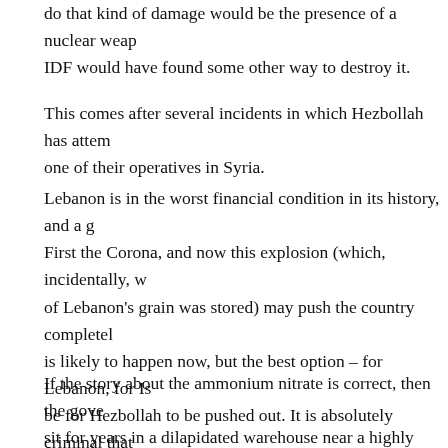do that kind of damage would be the presence of a nuclear wea... IDF would have found some other way to destroy it.
This comes after several incidents in which Hezbollah has atten... one of their operatives in Syria.
Lebanon is in the worst financial condition in its history, and a g... First the Corona, and now this explosion (which, incidentally, w... of Lebanon's grain was stored) may push the country completel... is likely to happen now, but the best option – for Lebanon, for Is... be for Hezbollah to be pushed out. It is absolutely criminal that ... squandered on being the point of the spear for the Iranian war o... from under the thumb of a terrorist organization that has more m... army?
If the story about the ammonium nitrate is correct, then the gove... sit for years in a dilapidated warehouse near a highly populated ... negligence. What brought Lebanon to the state it was in before t... but equally criminal, failure of those in whom the inhabitants of